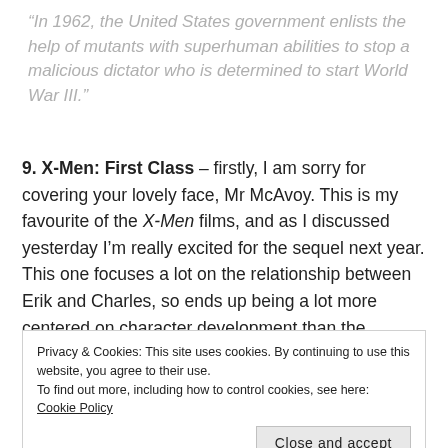“In 1962, the United States government enlists the help of mutants with superhuman abilities to stop a malicious dictator who is determined to start World War III.”
9. X-Men: First Class – firstly, I am sorry for covering your lovely face, Mr McAvoy. This is my favourite of the X-Men films, and as I discussed yesterday I’m really excited for the sequel next year. This one focuses a lot on the relationship between Erik and Charles, so ends up being a lot more centered on character development than the previous films. It also has a pretty great 1960s themed soundtrack, and plays cleverly on real events.
Privacy & Cookies: This site uses cookies. By continuing to use this website, you agree to their use.
To find out more, including how to control cookies, see here: Cookie Policy
Katniss Everdeen voluntarily takes her younger sister’s place